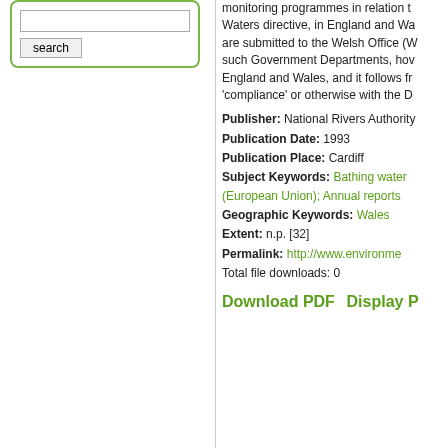monitoring programmes in relation to the Bathing Waters directive, in England and Wales. The results are submitted to the Welsh Office (WO) and such Government Departments, however, in England and Wales, and it follows from the 'compliance' or otherwise with the Directive.
Publisher: National Rivers Authority
Publication Date: 1993
Publication Place: Cardiff
Subject Keywords: Bathing water (European Union); Annual reports
Geographic Keywords: Wales
Extent: n.p. [32]
Permalink: http://www.environme...
Total file downloads: 0
Download PDF    Display P